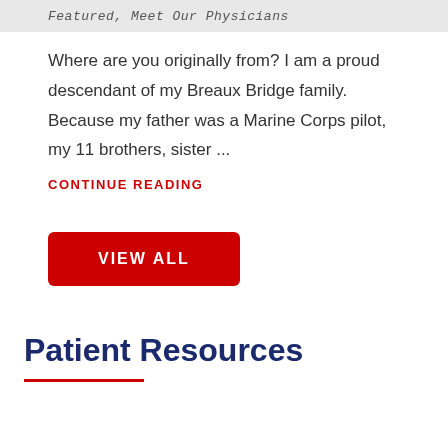Featured, Meet Our Physicians
Where are you originally from? I am a proud descendant of my Breaux Bridge family. Because my father was a Marine Corps pilot, my 11 brothers, sister ...
CONTINUE READING
VIEW ALL
Patient Resources